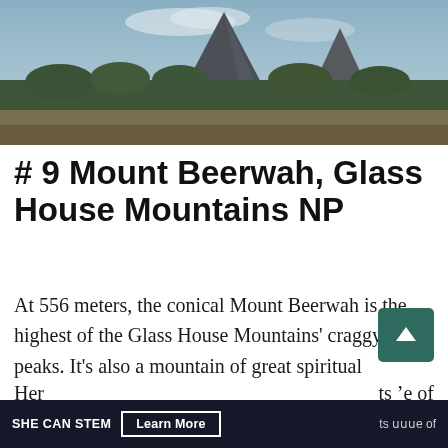[Figure (photo): Landscape photograph of Mount Beerwah in the Glass House Mountains National Park, showing a conical volcanic peak rising above dense green forest, with a partly cloudy sky in the background.]
# 9 Mount Beerwah, Glass House Mountains NP
At 556 meters, the conical Mount Beerwah is the highest of the Glass House Mountains' craggy peaks. It's also a mountain of great spiritual significance to the local Jinibara people. A World
Her SHE CAN STEM Learn More its m°e of